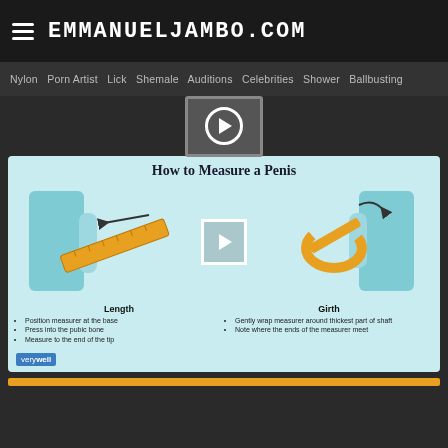EMMANUELJAMBO.COM
Nylon  Porn Artist  Lick  Shemale  Auditions  Celebrities  Shower  Ballbusting
[Figure (screenshot): Video play button thumbnail in dark area]
[Figure (infographic): Infographic titled 'How to Measure a Penis' showing Length and Girth measurement instructions with illustrated diagrams. Left side shows ruler measuring length with arrow pointing left. Right side shows tape measure wrapped around for girth. Labels: Length - Position measurer at the base, Press into the pubic bone, Measure to the end of the tip. Girth - Gently wrap measurer around thickest part of shaft, Note where the ends of the measurer meet. Source: verywell]